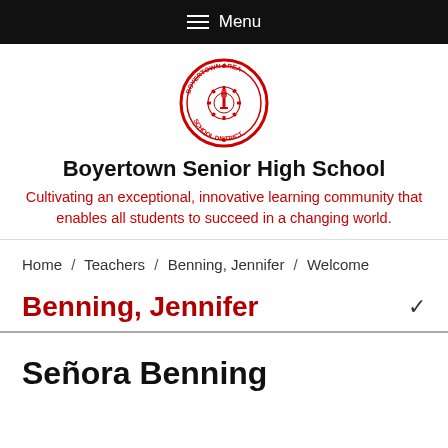Menu
[Figure (logo): Boyertown Area School District circular seal/logo in red]
Boyertown Senior High School
Cultivating an exceptional, innovative learning community that enables all students to succeed in a changing world.
Home / Teachers / Benning, Jennifer / Welcome
Benning, Jennifer
Señora Benning